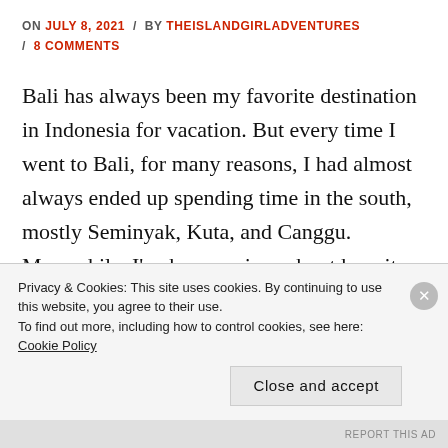ON JULY 8, 2021 / BY THEISLANDGIRLADVENTURES / 8 COMMENTS
Bali has always been my favorite destination in Indonesia for vacation. But every time I went to Bali, for many reasons, I had almost always ended up spending time in the south, mostly Seminyak, Kuta, and Canggu. Meanwhile, I've been curious about how it feels to live in Ubud for a long. My introverted side …
Privacy & Cookies: This site uses cookies. By continuing to use this website, you agree to their use.
To find out more, including how to control cookies, see here: Cookie Policy
Close and accept
REPORT THIS AD